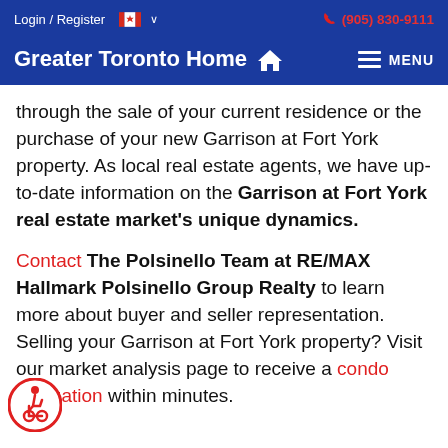Login / Register   🍁 ∨   (905) 830-9111
Greater Toronto Home 🏠   ≡ MENU
through the sale of your current residence or the purchase of your new Garrison at Fort York property. As local real estate agents, we have up-to-date information on the Garrison at Fort York real estate market's unique dynamics.
Contact The Polsinello Team at RE/MAX Hallmark Polsinello Group Realty to learn more about buyer and seller representation. Selling your Garrison at Fort York property? Visit our market analysis page to receive a condo evaluation within minutes.